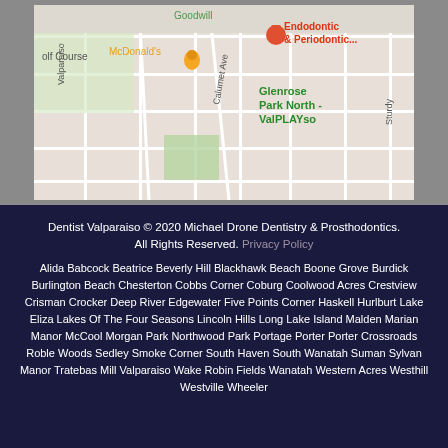[Figure (map): Google Maps screenshot showing Valparaiso area with markers for Endodontic & Periodontic..., McDonald's, Glenrose Park North - ValPLAYso. Streets visible include Valparaiso, Calumet Ave, Sturdy. Golf Course visible on left.]
Dentist Valparaiso © 2020 Michael Drone Dentistry & Prosthodontics. All Rights Reserved. Privacy Policy
Alida Babcock Beatrice Beverly Hill Blackhawk Beach Boone Grove Burdick Burlington Beach Chesterton Cobbs Corner Coburg Coolwood Acres Crestview Crisman Crocker Deep River Edgewater Five Points Corner Haskell Hurlburt Lake Eliza Lakes Of The Four Seasons Lincoln Hills Long Lake Island Malden Marian Manor McCool Morgan Park Northwood Park Portage Porter Porter Crossroads Roble Woods Sedley Smoke Corner South Haven South Wanatah Suman Sylvan Manor Tratebas Mill Valparaiso Wake Robin Fields Wanatah Western Acres Westhill Westville Wheeler